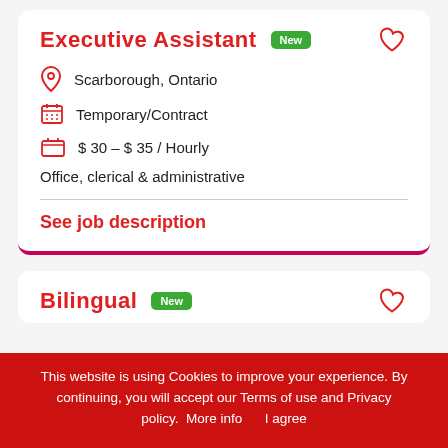Executive Assistant
Scarborough, Ontario
Temporary/Contract
$ 30 – $ 35 / Hourly
Office, clerical & administrative
See job description
Bilingual
This website is using Cookies to improve your experience. By continuing, you will accept our Terms of use and Privacy policy.  More info     I agree